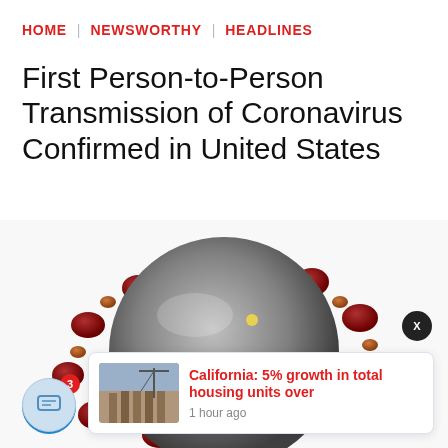HOME | NEWSWORTHY | HEADLINES
First Person-to-Person Transmission of Coronavirus Confirmed in United States
[Figure (photo): Close-up 3D render of a coronavirus particle showing red spike proteins on a grey spherical body against a white background]
California: 5% growth in total housing units over — 1 hour ago